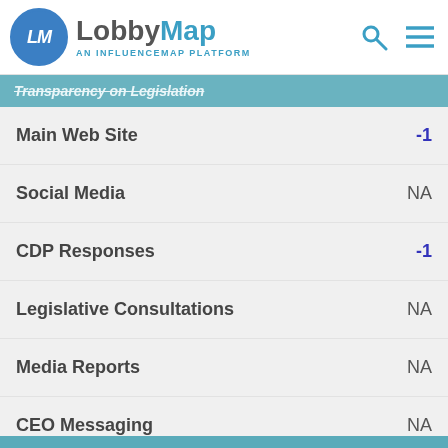[Figure (logo): LobbyMap logo — circle with LM initials, text 'LobbyMap' and subtitle 'AN INFLUENCEMAP PLATFORM']
Transparency on Legislation
Main Web Site  -1
Social Media  NA
CDP Responses  -1
Legislative Consultations  NA
Media Reports  NA
CEO Messaging  NA
Financial Disclosures  NS